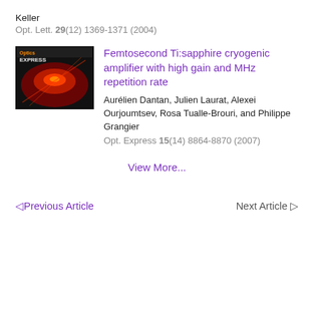Keller
Opt. Lett. 29(12) 1369-1371 (2004)
[Figure (photo): Journal cover thumbnail for Optics Express showing red laser beam]
Femtosecond Ti:sapphire cryogenic amplifier with high gain and MHz repetition rate
Aurélien Dantan, Julien Laurat, Alexei Ourjoumtsev, Rosa Tualle-Brouri, and Philippe Grangier
Opt. Express 15(14) 8864-8870 (2007)
View More...
◁Previous Article
Next Article ▷